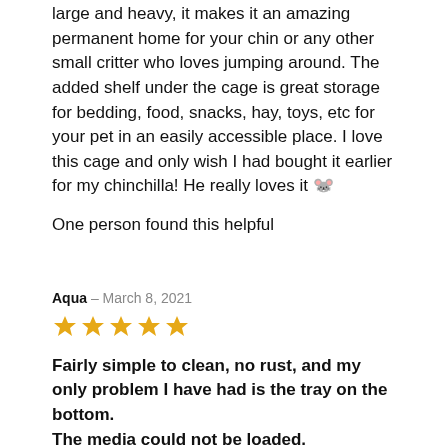large and heavy, it makes it an amazing permanent home for your chin or any other small critter who loves jumping around. The added shelf under the cage is great storage for bedding, food, snacks, hay, toys, etc for your pet in an easily accessible place. I love this cage and only wish I had bought it earlier for my chinchilla! He really loves it 🐭
One person found this helpful
Aqua – March 8, 2021
[Figure (other): 5 gold/yellow star rating icons]
Fairly simple to clean, no rust, and my only problem I have had is the tray on the bottom.
The media could not be loaded.
 Our family has had the single story critter nation for over a year now. We have no rusted cage bars, the cage is really easy to clean most of it and the only real...